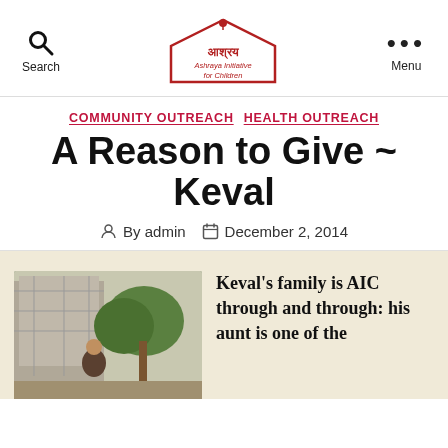Search | Ashraya Initiative for Children | Menu
COMMUNITY OUTREACH   HEALTH OUTREACH
A Reason to Give ~ Keval
By admin   December 2, 2014
[Figure (photo): Photo of a person outdoors with trees and a building under construction in the background]
Keval's family is AIC through and through: his aunt is one of the